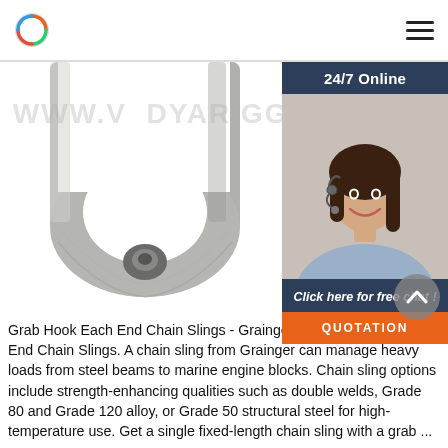www.voyarigging.com — Logo and navigation header
[Figure (photo): Close-up photograph of a galvanized steel grab hook/chain sling end fitting, U-shaped metal hardware against white background, with watermark text WWW.VOYARIGGING.COM]
[Figure (photo): Chat widget sidebar: '24/7 Online' header, photo of female customer service representative wearing headset and smiling, 'Click here for free chat!' and 'QUOTATION' button]
Grab Hook Each End Chain Slings - Grainger Ind... Grab Hook Each End Chain Slings. A chain sling from Grainger can manage heavy loads from steel beams to marine engine blocks. Chain sling options include strength-enhancing qualities such as double welds, Grade 80 and Grade 120 alloy, or Grade 50 structural steel for high-temperature use. Get a single fixed-length chain sling with a grab ...